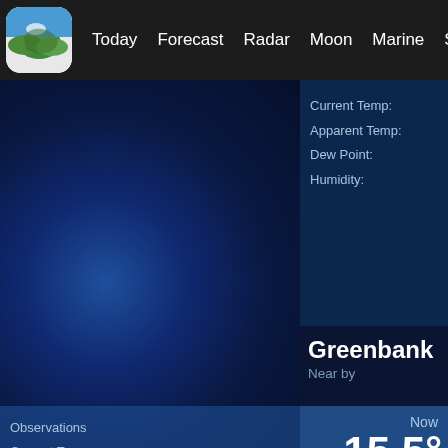Today  Forecast  Radar  Moon  Marine  Statistics
Current Temp:
Apparent Temp:
Dew Point:
Humidity:
Greenbank
Near by
Now
15.5°
Observations
Current Temp:
Apparent Temp:
Dew Point: